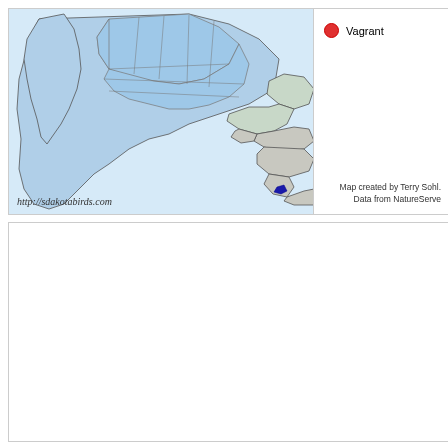[Figure (map): Range map of Central America and Mexico showing bird distribution. Northern/central Mexico shaded in light blue indicating resident range. A small dark blue area in lower Central America (possibly Costa Rica/Panama) indicating another record. Light gray areas show rest of the region. The map shows country/state borders.]
Vagrant
http://sdakotabirds.com
Map created by Terry Sohl. Data from NatureServe